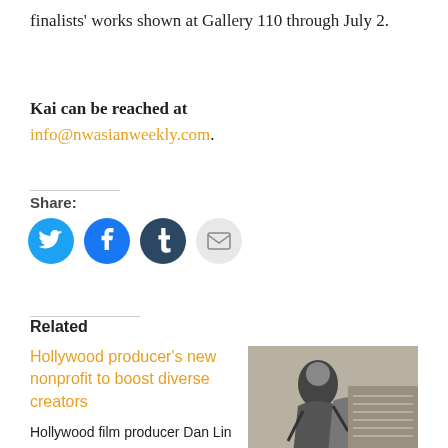finalists' works shown at Gallery 110 through July 2.
Kai can be reached at info@nwasianweekly.com.
[Figure (infographic): Social share buttons: Twitter (blue bird icon), Facebook (blue f icon), Tumblr (dark blue t icon), Email (grey envelope icon)]
Related
Hollywood producer's new nonprofit to boost diverse creators
Hollywood film producer Dan Lin—
[Figure (photo): Black and white photograph of a person in action, possibly a martial arts or dynamic pose scene]
“Beyond the Mountain” is where we all want to go—A